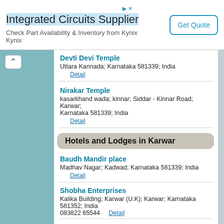[Figure (infographic): Advertisement banner for Kynix Integrated Circuits Supplier with Get Quote button]
Devti Devi Temple
Uttara Kannada; Karnataka 581339; India
Detail
Nirakar Temple
kasarkhand wada; kinnar; Siddar - Kinnar Road; Karwar; Karnataka 581339; India
Detail
Hotels and Lodges in Karwar
Baudh Mandir place
Madhav Nagar; Kadwad; Karnataka 581339; India
Detail
Shobha Enterprises
Kalika Building; Karwar (U.K); Karwar; Karnataka 581352; India 083822 65544
Detail
HOTEL MAHAMAYA
Link Road; Sadashivgad; Karnataka 581352; India